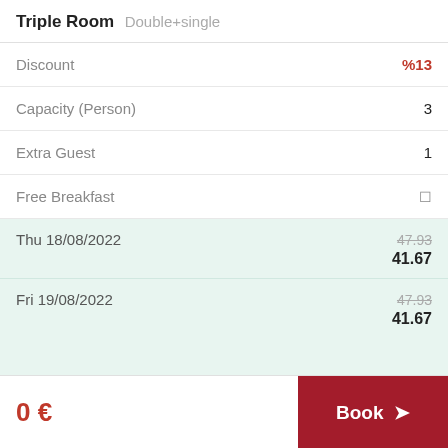Triple Room Double+single
Discount: %13
Capacity (Person): 3
Extra Guest: 1
Free Breakfast
Thu 18/08/2022 — 47.93 / 41.67
Fri 19/08/2022 — 47.93 / 41.67
0 €
Book